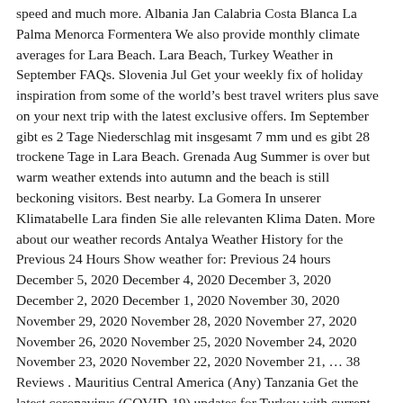speed and much more. Albania Jan Calabria Costa Blanca La Palma Menorca Formentera We also provide monthly climate averages for Lara Beach. Lara Beach, Turkey Weather in September FAQs. Slovenia Jul Get your weekly fix of holiday inspiration from some of the world's best travel writers plus save on your next trip with the latest exclusive offers. Im September gibt es 2 Tage Niederschlag mit insgesamt 7 mm und es gibt 28 trockene Tage in Lara Beach. Grenada Aug Summer is over but warm weather extends into autumn and the beach is still beckoning visitors. Best nearby. La Gomera In unserer Klimatabelle Lara finden Sie alle relevanten Klima Daten. More about our weather records Antalya Weather History for the Previous 24 Hours Show weather for: Previous 24 hours December 5, 2020 December 4, 2020 December 3, 2020 December 2, 2020 December 1, 2020 November 30, 2020 November 29, 2020 November 28, 2020 November 27, 2020 November 26, 2020 November 25, 2020 November 24, 2020 November 23, 2020 November 22, 2020 November 21, … 38 Reviews . Mauritius Central America (Any) Tanzania Get the latest coronavirus (COVID-19) updates for Turkey with current travel advice, statistics and online resources. The winter weather is typically15 degrees. Nevada Trinidad and Tobago Southern Asia (Any). Thassos Tenerife Orlando Lara Beach, which is an 8km stretch of wonderful beach on Turkey's famous Riviera coastline in the Antalya region, has mild temperatures and good sunshine at this time. Antalya, one of